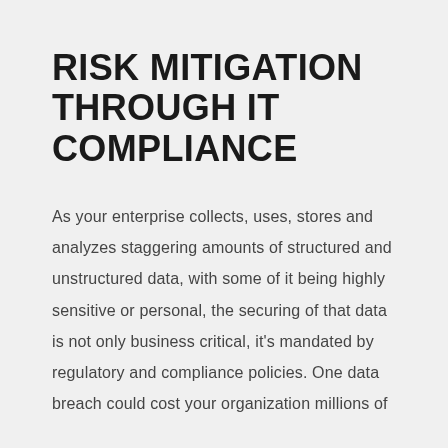RISK MITIGATION THROUGH IT COMPLIANCE
As your enterprise collects, uses, stores and analyzes staggering amounts of structured and unstructured data, with some of it being highly sensitive or personal, the securing of that data is not only business critical, it's mandated by regulatory and compliance policies. One data breach could cost your organization millions of